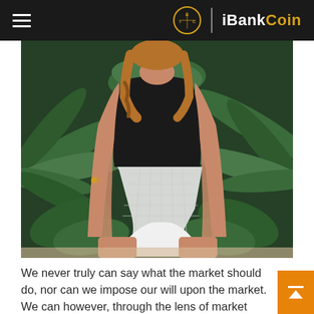iBankCoin
[Figure (photo): Woman in black and white swimsuit posing in front of tropical palm leaves]
We never truly can say what the market should do, nor can we impose our will upon the market.  We can however, through the lens of market profile with a side of auction theory, gauge the likelihood of continuation.  This